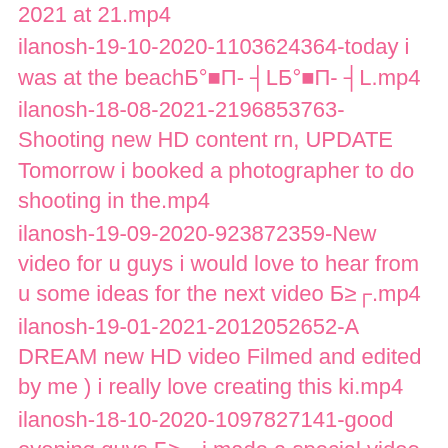2021 at 21.mp4
ilanosh-19-10-2020-1103624364-today i was at the beachБ°■П- ┤LБ°■П- ┤L.mp4
ilanosh-18-08-2021-2196853763-Shooting new HD content rn, UPDATE Tomorrow i booked a photographer to do shooting in the.mp4
ilanosh-19-09-2020-923872359-New video for u guys i would love to hear from u some ideas for the next video Б≥┌.mp4
ilanosh-19-01-2021-2012052652-A DREAM new HD video Filmed and edited by me ) i really love creating this ki.mp4
ilanosh-18-10-2020-1097827141-good evening guys Б≥┌ i made a special video for u if u like this kind of content dont for.mp4
ilanosh-16-05-2021-2110994956-П÷≤┬П-≤┬Б²┌О┬ ▌good night guys Stay safe.mp4
ilanosh-18-08-2021-2196853738-Shooting new HD content rn, UPDATE Tomorrow i booked a photographer to do shooting in the.mp4
ilanosh-18-06-2021-2139668548-Did some really crazy